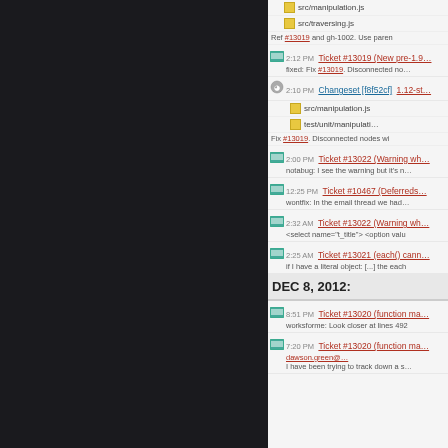[Figure (screenshot): Dark left panel of a web UI]
src/manipulation.js
src/traversing.js
Ref #13019 and gh-1002. Use paren
2:12 PM Ticket #13019 (New pre-1.9... fixed: Fix #13019. Disconnected no...
2:10 PM Changeset [f8f52cf] 1.12-st...
src/manipulation.js
test/unit/manipulati...
Fix #13019. Disconnected nodes wi
2:00 PM Ticket #13022 (Warning wh... notabug: I see the warning but it's n...
12:25 PM Ticket #10467 (Deferreds... wontfix: In the email thread we had...
2:32 AM Ticket #13022 (Warning wh... <select name="t_title"> <option valu
2:25 AM Ticket #13021 (each() cann... if I have a literal object: [...] the each
DEC 8, 2012:
8:51 PM Ticket #13020 (function ma... worksforme: Look closer at lines 492
7:20 PM Ticket #13020 (function ma... dawson.green@... I have been trying to track down a s...